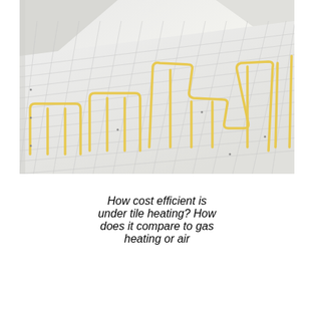[Figure (photo): Underfloor heating mat laid out on a white gridded surface, showing yellow serpentine heating cables/pipes running in parallel lines across a floor, viewed from an angle.]
How cost efficient is under tile heating? How does it compare to gas heating or air